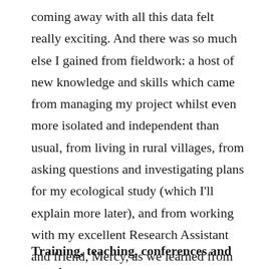coming away with all this data felt really exciting. And there was so much else I gained from fieldwork: a host of new knowledge and skills which came from managing my project whilst even more isolated and independent than usual, from living in rural villages, from asking questions and investigating plans for my ecological study (which I'll explain more later), and from working with my excellent Research Assistant and friend, Mercy, as we learned from our experiences and developed our methods together. Despite all these gains, fieldwork was really tough (it definitely isn't for everyone and I definitely now know why!) and I was very ready to come home afterwards.
Training, teaching, conferences and meetings